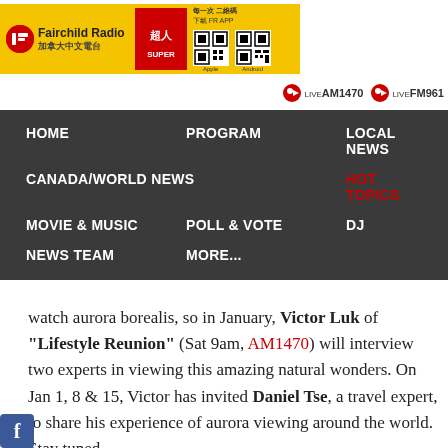[Figure (logo): Fairchild Radio banner with yellow background, red box, QR codes for Apple and Android app download]
LIVE AM1470   LIVE FM961
HOME
PROGRAM
LOCAL NEWS
CANADA/WORLD NEWS
HOT TOPICS
MOVIE & MUSIC
POLL & VOTE
DJ
NEWS TEAM
MORE...
watch aurora borealis, so in January, Victor Luk of "Lifestyle Reunion" (Sat 9am, AM1470) will interview two experts in viewing this amazing natural wonders. On Jan 1, 8 & 15, Victor has invited Daniel Tse, a travel expert, to share his experience of aurora viewing around the world. Stay tuned.